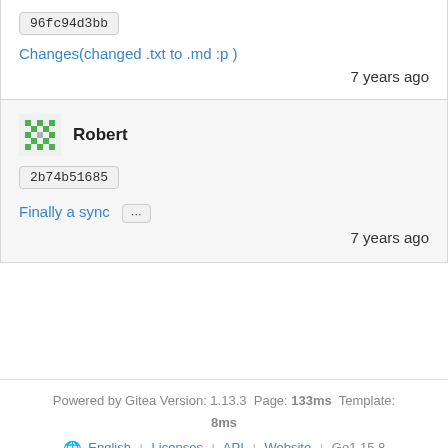96fc94d3bb
Changes(changed .txt to .md :p )
7 years ago
[Figure (other): User avatar - green pixel/identicon avatar for Robert]
Robert
2b74b51685
Finally a sync ...
7 years ago
Powered by Gitea Version: 1.13.3 Page: 133ms Template: 8ms | English | Licenses | API | Website | Go1.15.8